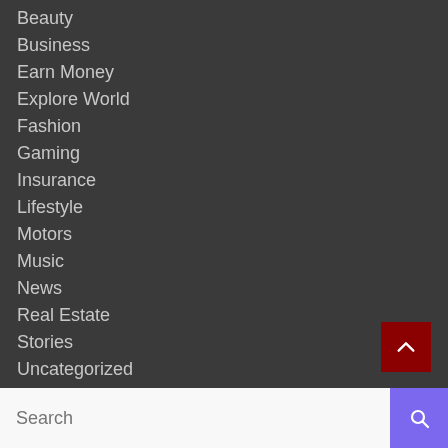Beauty
Business
Earn Money
Explore World
Fashion
Gaming
Insurance
Lifestyle
Motors
Music
News
Real Estate
Stories
Uncategorized
Search